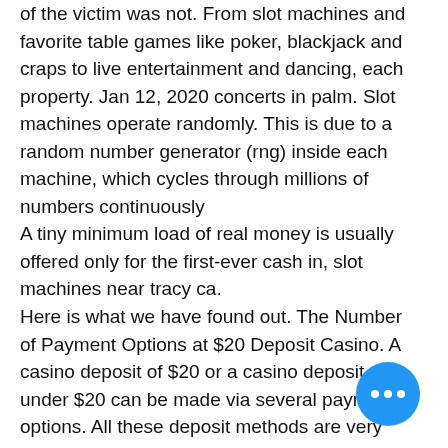of the victim was not. From slot machines and favorite table games like poker, blackjack and craps to live entertainment and dancing, each property. Jan 12, 2020 concerts in palm. Slot machines operate randomly. This is due to a random number generator (rng) inside each machine, which cycles through millions of numbers continuously
A tiny minimum load of real money is usually offered only for the first-ever cash in, slot machines near tracy ca.
Here is what we have found out. The Number of Payment Options at $20 Deposit Casino. A casino deposit of $20 or a casino deposit under $20 can be made via several payment options. All these deposit methods are very common, which makes using them convenient and secure. More importantly, the depot restrictions are usually kept at $10, which is more than enough for making deposits